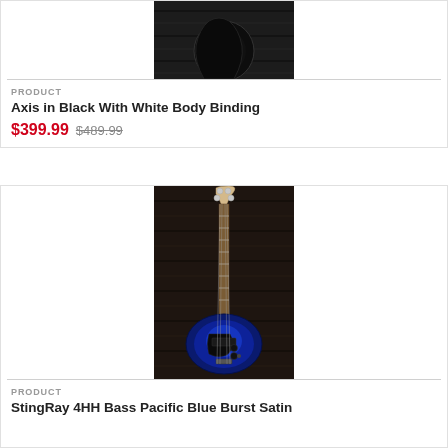[Figure (photo): Partial top view of a dark electric guitar against dark wood background]
PRODUCT
Axis in Black With White Body Binding
$399.99 $489.99
[Figure (photo): StingRay 4HH Bass guitar in Pacific Blue Burst Satin finish against dark wood background, full front view showing neck and body]
PRODUCT
StingRay 4HH Bass Pacific Blue Burst Satin